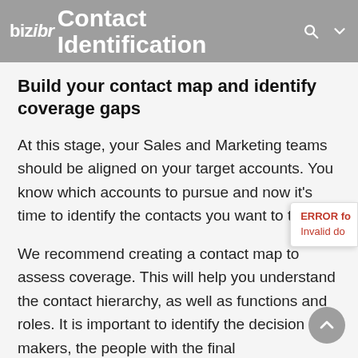Contact Identification
Build your contact map and identify coverage gaps
At this stage, your Sales and Marketing teams should be aligned on your target accounts. You know which accounts to pursue and now it's time to identify the contacts you want to talk to.
We recommend creating a contact map to assess coverage. This will help you understand the contact hierarchy, as well as functions and roles. It is important to identify the decision makers, the people with the final...